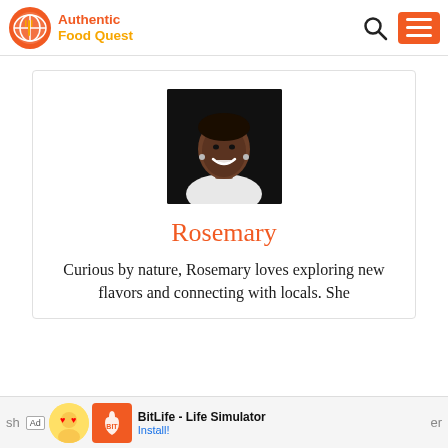Authentic Food Quest
[Figure (photo): Profile photo of Rosemary — a smiling woman against a dark background]
Rosemary
Curious by nature, Rosemary loves exploring new flavors and connecting with locals. She sh…er
[Figure (other): Ad banner: BitLife - Life Simulator with Install button]